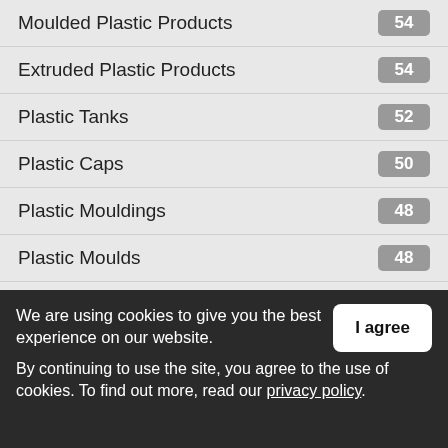Moulded Plastic Products 54
Extruded Plastic Products 54
Plastic Tanks 52
Plastic Caps 50
Plastic Mouldings 48
Plastic Moulds 48
Aluminum Extrusions 47
Plastic Injection Mouldings 45
Plastic Injection Moulding 45
Plastic Tubes 45
We are using cookies to give you the best experience on our website. By continuing to use the site, you agree to the use of cookies. To find out more, read our privacy policy.